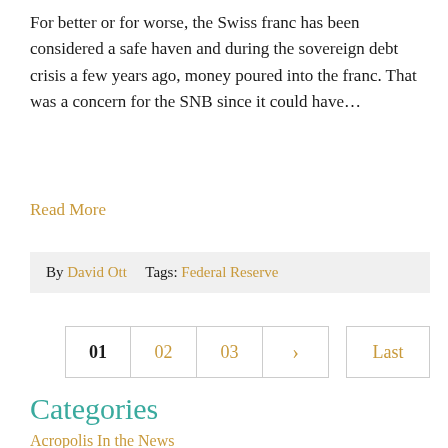For better or for worse, the Swiss franc has been considered a safe haven and during the sovereign debt crisis a few years ago, money poured into the franc. That was a concern for the SNB since it could have…
Read More
By David Ott    Tags: Federal Reserve
01  02  03  >  Last
Categories
Acropolis In the News